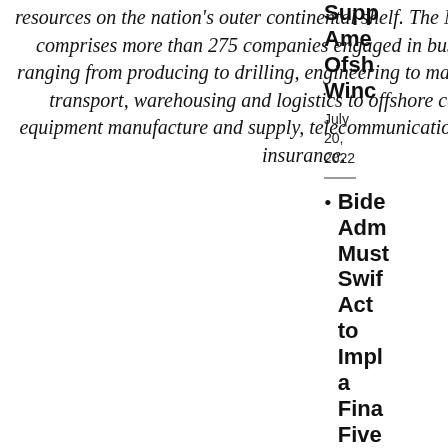resources on the nation's outer continental shelf. The NOIA membership comprises more than 275 companies engaged in business activities ranging from producing to drilling, engineering to marine, land and air transport, warehousing and logistics to offshore construction to equipment manufacture and supply, telecommunications to finance and insurance.
Supp Ame Offs Wind
July 20, 2022
Bide Adm Must Swif Act to Impl a Fina Five Year Prog